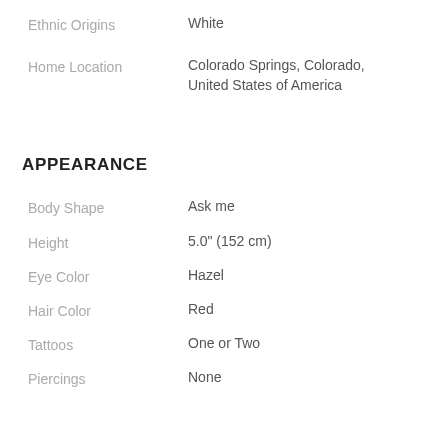Ethnic Origins: White
Home Location: Colorado Springs, Colorado, United States of America
APPEARANCE
Body Shape: Ask me
Height: 5.0" (152 cm)
Eye Color: Hazel
Hair Color: Red
Tattoos: One or Two
Piercings: None
CHARACTERISTICS